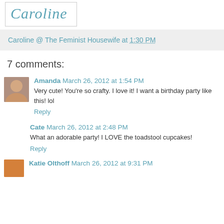[Figure (logo): Cursive script logo reading 'Caroline' in teal/blue color inside a bordered box]
Caroline @ The Feminist Housewife at 1:30 PM
7 comments:
Amanda March 26, 2012 at 1:54 PM
Very cute! You're so crafty. I love it! I want a birthday party like this! lol
Reply
Cate March 26, 2012 at 2:48 PM
What an adorable party! I LOVE the toadstool cupcakes!
Reply
Katie Olthoff March 26, 2012 at 9:31 PM